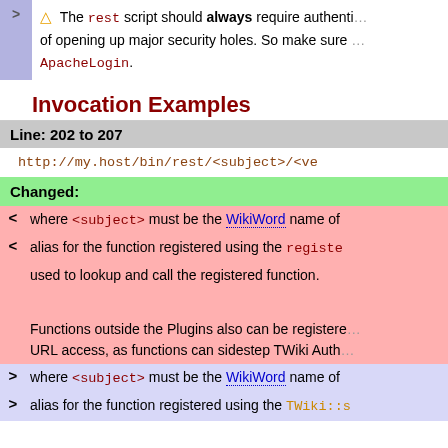⚠ The rest script should always require authentication. Leaving it open is a significant risk of opening up major security holes. So make sure you configure it with ApacheLogin.
Invocation Examples
Line: 202 to 207
http://my.host/bin/rest/<subject>/<ve
Changed:
< where <subject> must be the WikiWord name of
< alias for the function registered using the registe
used to lookup and call the registered function.
Functions outside the Plugins also can be registere URL access, as functions can sidestep TWiki Authe
> where <subject> must be the WikiWord name of
> alias for the function registered using the TWiki::s